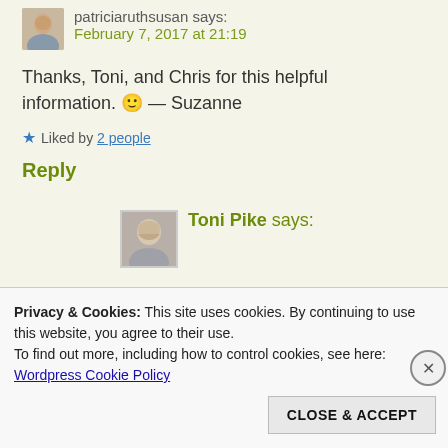patriciaruthsusan says:
February 7, 2017 at 21:19
Thanks, Toni, and Chris for this helpful information. 🙂 — Suzanne
★ Liked by 2 people
Reply
Toni Pike says:
Privacy & Cookies: This site uses cookies. By continuing to use this website, you agree to their use.
To find out more, including how to control cookies, see here:
Wordpress Cookie Policy
CLOSE & ACCEPT